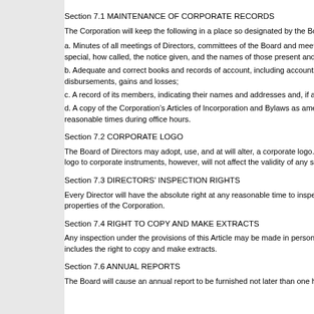Section 7.1 MAINTENANCE OF CORPORATE RECORDS
The Corporation will keep the following in a place so designated by the Boa
a. Minutes of all meetings of Directors, committees of the Board and meetin special, how called, the notice given, and the names of those present and t
b. Adequate and correct books and records of account, including accounts disbursements, gains and losses;
c. A record of its members, indicating their names and addresses and, if ap
d. A copy of the Corporation’s Articles of Incorporation and Bylaws as amen reasonable times during office hours.
Section 7.2 CORPORATE LOGO
The Board of Directors may adopt, use, and at will alter, a corporate logo. S logo to corporate instruments, however, will not affect the validity of any suc
Section 7.3 DIRECTORS’ INSPECTION RIGHTS
Every Director will have the absolute right at any reasonable time to inspec properties of the Corporation.
Section 7.4 RIGHT TO COPY AND MAKE EXTRACTS
Any inspection under the provisions of this Article may be made in person b includes the right to copy and make extracts.
Section 7.6 ANNUAL REPORTS
The Board will cause an annual report to be furnished not later than one hu